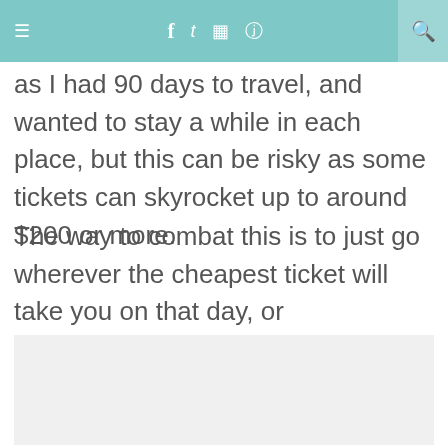≡  f  t  ☷  ℗  🔍
as I had 90 days to travel, and wanted to stay a while in each place, but this can be risky as some tickets can skyrocket up to around $200 or more.
The way to combat this is to just go wherever the cheapest ticket will take you on that day, or meticulously plan your route to maximize your budget.
[Figure (other): White/light gray image placeholder area at the bottom of the page]